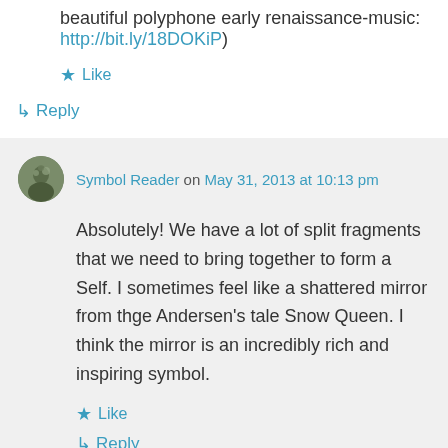beautiful polyphone early renaissance-music: http://bit.ly/18DOKiP)
★ Like
↳ Reply
Symbol Reader on May 31, 2013 at 10:13 pm
Absolutely! We have a lot of split fragments that we need to bring together to form a Self. I sometimes feel like a shattered mirror from thge Andersen's tale Snow Queen. I think the mirror is an incredibly rich and inspiring symbol.
★ Like
↳ Reply